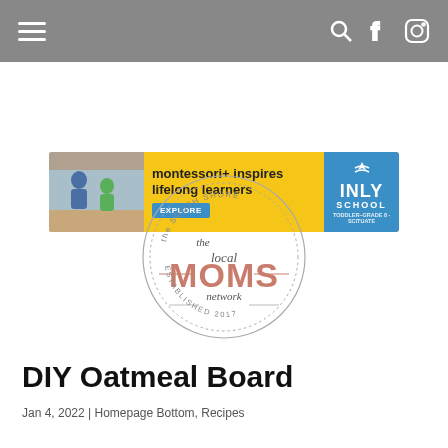Navigation bar with hamburger menu and search, Facebook, Instagram icons
[Figure (photo): Advertisement banner for INLY School: montessori+ inspires lifelong learners, with EXPLORE button and INLY School logo]
[Figure (logo): The South Shore Local MOMS Network circular stamp logo, established 2017]
DIY Oatmeal Board
Jan 4, 2022 | Homepage Bottom, Recipes